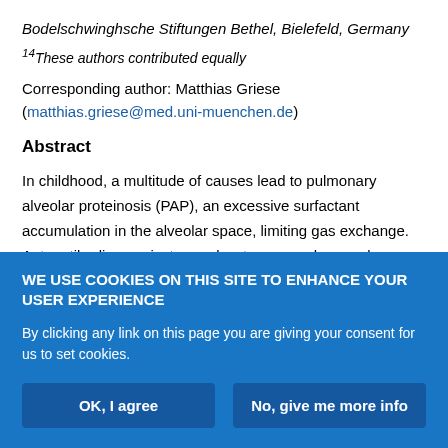Bodelschwinghsche Stiftungen Bethel, Bielefeld, Germany
14These authors contributed equally
Corresponding author: Matthias Griese (matthias.griese@med.uni-muenchen.de)
Abstract
In childhood, a multitude of causes lead to pulmonary alveolar proteinosis (PAP), an excessive surfactant accumulation in the alveolar space, limiting gas exchange. Autoantibodies against granulocyte–macrophage colony-stimulating factor (GM-CSF) causing autoimmune PAP, the principal aetiology in adults, are rare.
WE USE COOKIES ON THIS SITE TO ENHANCE YOUR USER EXPERIENCE
By clicking any link on this page you are giving your consent for us to set cookies.